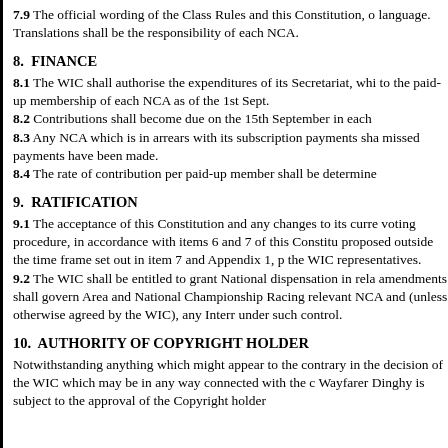7.9 The official wording of the Class Rules and this Constitution, o language. Translations shall be the responsibility of each NCA.
8.  FINANCE
8.1 The WIC shall authorise the expenditures of its Secretariat, whi to the paid-up membership of each NCA as of the 1st Sept.
8.2 Contributions shall become due on the 15th September in each
8.3 Any NCA which is in arrears with its subscription payments sha missed payments have been made.
8.4 The rate of contribution per paid-up member shall be determine
9.  RATIFICATION
9.1 The acceptance of this Constitution and any changes to its curre voting procedure, in accordance with items 6 and 7 of this Constitu proposed outside the time frame set out in item 7 and Appendix 1, p the WIC representatives.
9.2 The WIC shall be entitled to grant National dispensation in rela amendments shall govern Area and National Championship Racing relevant NCA and (unless otherwise agreed by the WIC), any Interr under such control.
10.  AUTHORITY OF COPYRIGHT HOLDER
Notwithstanding anything which might appear to the contrary in the decision of the WIC which may be in any way connected with the c Wayfarer Dinghy is subject to the approval of the Copyright holder